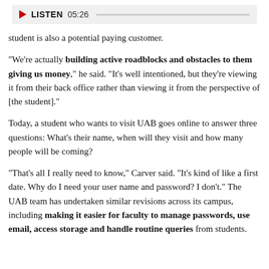[Figure (other): Audio player bar with play button, LISTEN label, time 05:26, and progress track]
student is also a potential paying customer.
"We're actually building active roadblocks and obstacles to them giving us money," he said. "It's well intentioned, but they're viewing it from their back office rather than viewing it from the perspective of [the student]."
Today, a student who wants to visit UAB goes online to answer three questions: What's their name, when will they visit and how many people will be coming?
"That's all I really need to know," Carver said. "It's kind of like a first date. Why do I need your user name and password? I don't." The UAB team has undertaken similar revisions across its campus, including making it easier for faculty to manage passwords, use email, access storage and handle routine queries from students.